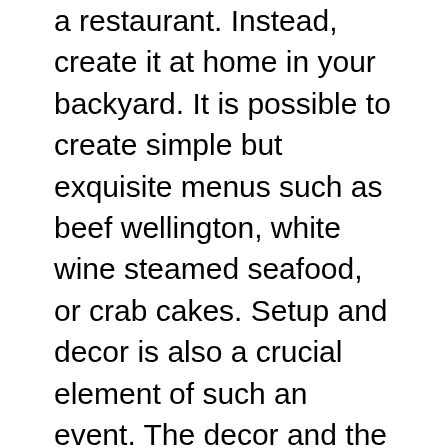a restaurant. Instead, create it at home in your backyard. It is possible to create simple but exquisite menus such as beef wellington, white wine steamed seafood, or crab cakes. Setup and decor is also a crucial element of such an event. The decor and the setup must be elegant and professional, beginning with the landscape.
You can also hire an expert company for hardscape to tidy the yard. This can include deck repair and a thorough maintenance of the lawn, and also the pressure washing of walkways. It is possible to host the meal in a shaded area in case you are located near an area that's prone to unexpected rainfall. So, you do not require rain insurance since your investment will not be